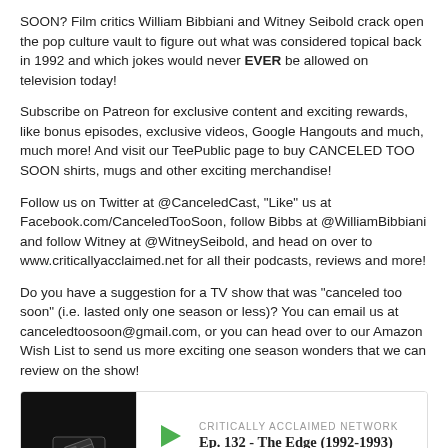SOON? Film critics William Bibbiani and Witney Seibold crack open the pop culture vault to figure out what was considered topical back in 1992 and which jokes would never EVER be allowed on television today!
Subscribe on Patreon for exclusive content and exciting rewards, like bonus episodes, exclusive videos, Google Hangouts and much, much more! And visit our TeePublic page to buy CANCELED TOO SOON shirts, mugs and other exciting merchandise!
Follow us on Twitter at @CanceledCast, "Like" us at Facebook.com/CanceledTooSoon, follow Bibbs at @WilliamBibbiani and follow Witney at @WitneySeibold, and head on over to www.criticallyacclaimed.net for all their podcasts, reviews and more!
Do you have a suggestion for a TV show that was "canceled too soon" (i.e. lasted only one season or less)? You can email us at canceledtoosoon@gmail.com, or you can head over to our Amazon Wish List to send us more exciting one season wonders that we can review on the show!
[Figure (screenshot): Podcast player widget for Critically Acclaimed Network episode 'Ep. 132 - The Edge (1992-1993)' with play button, progress bar, and playback controls showing 00:00:00, with Canceled Too Soon podcast artwork thumbnail on the left.]